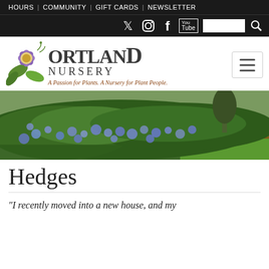HOURS | COMMUNITY | GIFT CARDS | NEWSLETTER
[Figure (screenshot): Social media icons bar with Twitter, Instagram, Facebook, YouTube icons, search box and magnifier on black background]
[Figure (logo): Portland Nursery logo with flower illustration and tagline: A Passion for Plants. A Nursery for Plant People.]
[Figure (photo): Photo of a flowering hedge with blue-purple blooms (Ceanothus) against a green lawn and mulched path]
Hedges
"I recently moved into a new house, and my